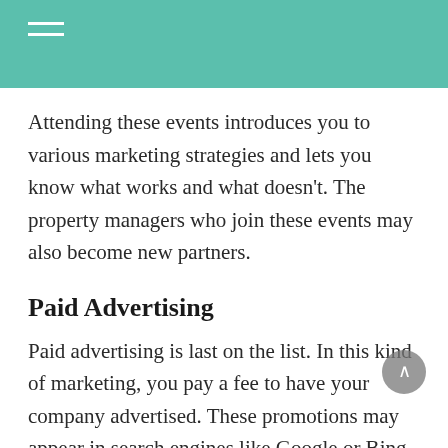Attending these events introduces you to various marketing strategies and lets you know what works and what doesn't. The property managers who join these events may also become new partners.
Paid Advertising
Paid advertising is last on the list. In this kind of marketing, you pay a fee to have your company advertised. These promotions may appear in search engines like Google or Bing when people look for relevant terms. You may also pay to have your ad appear on social